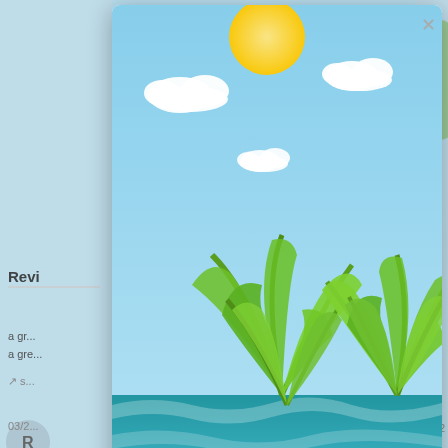[Figure (screenshot): A mobile app screenshot showing a popup/modal overlay with a tropical beach illustration. The popup has a sky-blue background with sun, clouds, ocean, sandy beach, palm leaves, white plumeria flowers, and a wooden sign board with 'No thanks' text. Behind the popup is a blurred review page showing user reviews including 'Levi G. Verified Buyer' with 3 stars and 'Great quality wall...' text.]